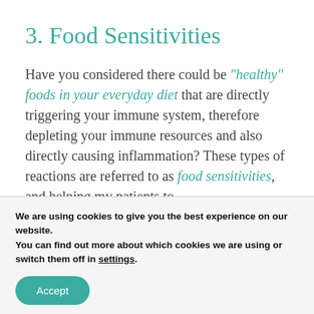3.  Food Sensitivities
Have you considered there could be “healthy” foods in your everyday diet that are directly triggering your immune system, therefore depleting your immune resources and also directly causing inflammation? These types of reactions are referred to as food sensitivities, and helping my patients to
We are using cookies to give you the best experience on our website.
You can find out more about which cookies we are using or switch them off in settings.
Accept